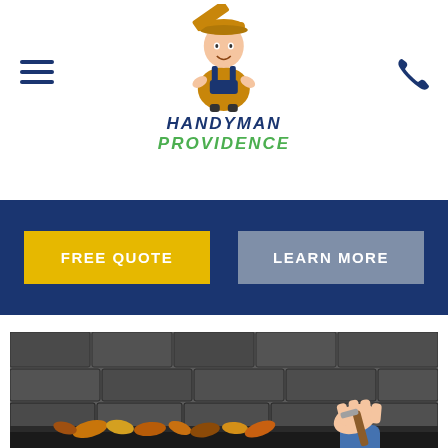[Figure (logo): Handyman Providence logo with cartoon mascot handyman figure holding a board, with text 'Handyman Providence' in blue and green italic letters]
[Figure (other): Hamburger menu icon (three horizontal navy blue lines) on the left side of the header]
[Figure (other): Phone icon in navy blue on the right side of the header]
[Figure (other): Dark navy blue banner with two buttons: a yellow 'FREE QUOTE' button and a gray 'LEARN MORE' button]
[Figure (photo): Photo of a person's hand using a tool to clean autumn leaves out of a roof gutter, with slate roof tiles visible in the background]